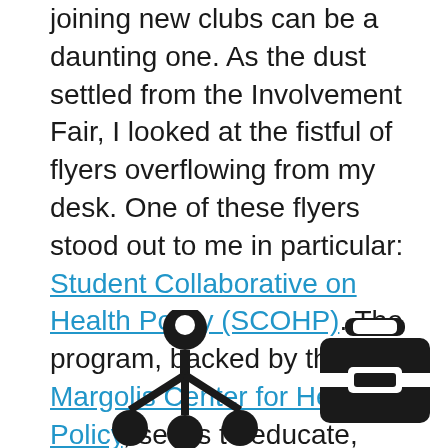joining new clubs can be a daunting one. As the dust settled from the Involvement Fair, I looked at the fistful of flyers overflowing from my desk. One of these flyers stood out to me in particular: Student Collaborative on Health Policy (SCOHP). The program, backed by the Duke Margolis Center for Health Policy, seeks to educate, serve, and research within the Duke and Durham community regarding the social, economic, and political determinants of health care.
[Figure (illustration): Two icons side by side: left icon shows a person/network/community symbol (figure with connected nodes below), right icon shows a briefcase symbol. Both icons are solid black silhouettes.]